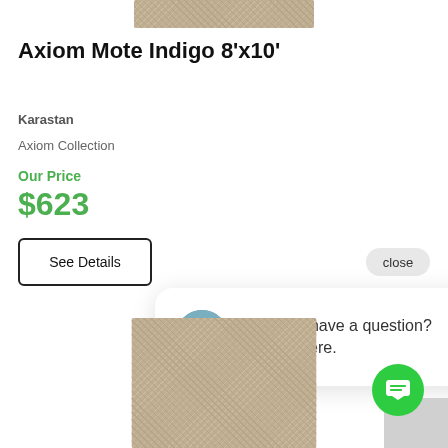[Figure (photo): Top portion of a carpet/rug product image showing a textured beige/tan rug]
Axiom Mote Indigo 8'x10'
Karastan
Axiom Collection
Our Price
$623
See Details
close
[Figure (screenshot): Chat popup with avatar photo of a woman and text: Hi there, have a question? Text us here.]
[Figure (photo): Bottom portion of a carpet/rug product image showing a textured beige/tan rug with dark flecks]